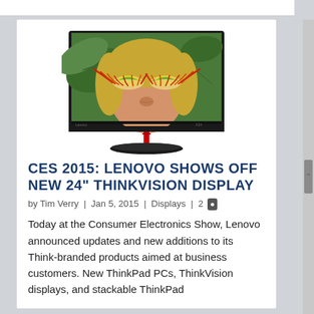[Figure (photo): A Lenovo ThinkVision 24-inch monitor displaying a close-up photo of a woman with colorful eye makeup, green leaf background. The monitor has a thin bezel, Lenovo branding, and sits on a round black stand with a red accent.]
CES 2015: LENOVO SHOWS OFF NEW 24" THINKVISION DISPLAY
by Tim Verry | Jan 5, 2015 | Displays | 2
Today at the Consumer Electronics Show, Lenovo announced updates and new additions to its Think-branded products aimed at business customers. New ThinkPad PCs, ThinkVision displays, and stackable ThinkPad